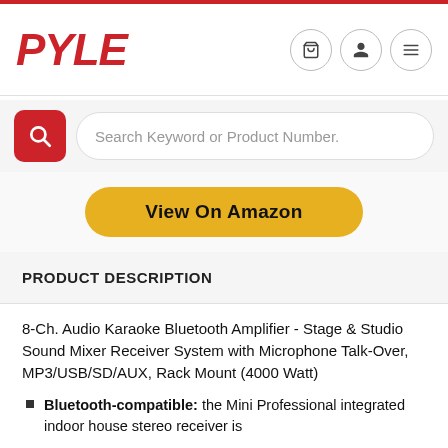PYLE
Search Keyword or Product Number.
View On Amazon
PRODUCT DESCRIPTION
8-Ch. Audio Karaoke Bluetooth Amplifier - Stage & Studio Sound Mixer Receiver System with Microphone Talk-Over, MP3/USB/SD/AUX, Rack Mount (4000 Watt)
Bluetooth-compatible: the Mini Professional integrated indoor house stereo receiver is